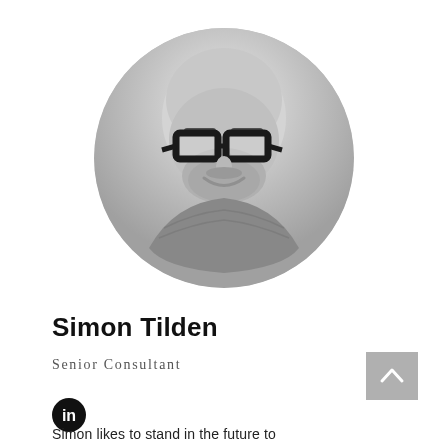[Figure (photo): Black and white circular portrait photo of Simon Tilden, a middle-aged bald man with glasses and a beard, smiling, wearing a plaid shirt.]
Simon Tilden
Senior Consultant
[Figure (logo): LinkedIn logo icon — circular black badge with 'in' in white text.]
Simon likes to stand in the future to defined innovative solutions to marketing